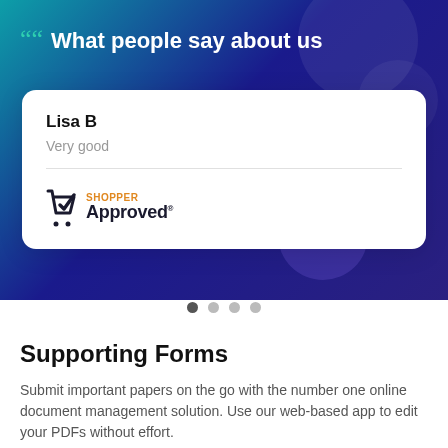What people say about us
Lisa B
Very good
[Figure (logo): Shopper Approved logo with a checkmark icon, orange SHOPPER wordmark above dark APPROVED text]
Supporting Forms
Submit important papers on the go with the number one online document management solution. Use our web-based app to edit your PDFs without effort.